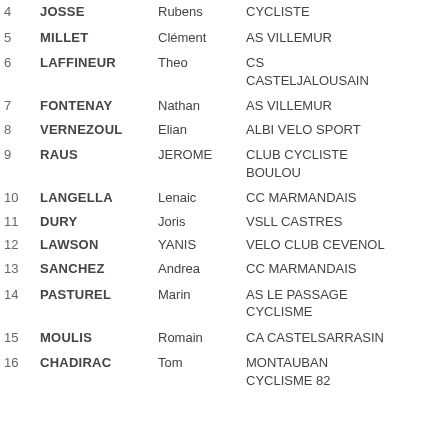| # | Last Name | First Name | Club | Pts |
| --- | --- | --- | --- | --- |
| 4 | JOSSE | Rubens | CYCLISTE | 30 |
| 5 | MILLET | Clément | AS VILLEMUR | 28 |
| 6 | LAFFINEUR | Theo | CS CASTELJALOUSAIN | 27 |
| 7 | FONTENAY | Nathan | AS VILLEMUR | 24 |
| 8 | VERNEZOUL | Elian | ALBI VELO SPORT | 23 |
| 9 | RAUS | JEROME | CLUB CYCLISTE BOULOU | 23 |
| 10 | LANGELLA | Lenaic | CC MARMANDAIS | 22 |
| 11 | DURY | Joris | VSLL CASTRES | 21 |
| 12 | LAWSON | YANIS | VELO CLUB CEVENOL | 21 |
| 13 | SANCHEZ | Andrea | CC MARMANDAIS | 19 |
| 14 | PASTUREL | Marin | AS LE PASSAGE CYCLISME | 15 |
| 15 | MOULIS | Romain | CA CASTELSARRASIN | 15 |
| 16 | CHADIRAC | Tom | MONTAUBAN CYCLISME 82 | 14 |